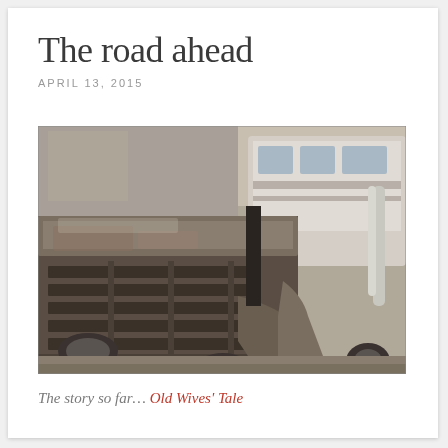The road ahead
APRIL 13, 2015
[Figure (photo): Black and white photograph of an old rusty abandoned truck grille and front end, with a second abandoned vehicle visible in the background, taken in a junkyard or abandoned lot.]
The story so far... Old Wives' Tale